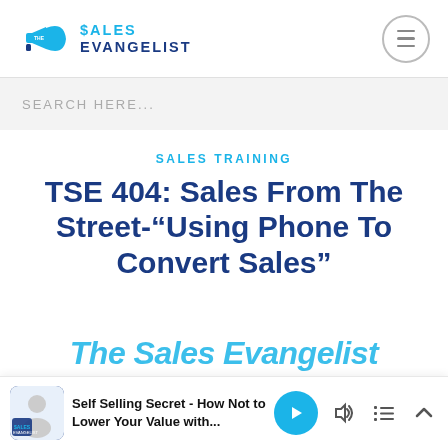[Figure (logo): The Sales Evangelist logo with megaphone icon and text '$ALES EVANGELIST']
SEARCH HERE...
SALES TRAINING
TSE 404: Sales From The Street-"Using Phone To Convert Sales"
The Sales Evangelist (partially visible)
Self Selling Secret - How Not to Lower Your Value with...